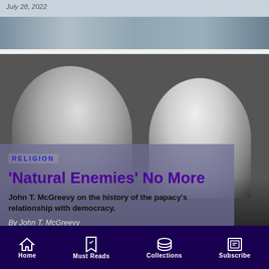July 28, 2022
[Figure (photo): Partial view of a building/article card with date July 28, 2022]
[Figure (photo): Black and white photograph of two men in conversation, facing each other in profile]
RELIGION
'Natural Enemies' No More
John T. McGreevy on the history of the papacy's relationship with democracy.
By John T. McGreevy
July 24, 2022
Home | Must Reads | Collections | Subscribe